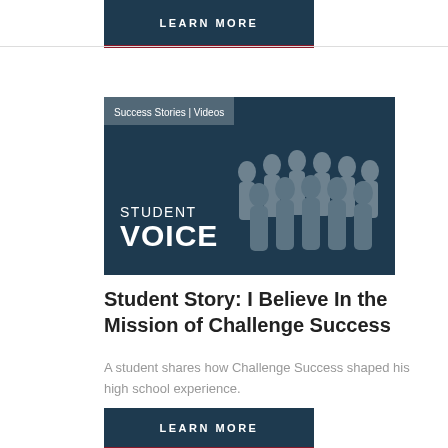LEARN MORE
[Figure (photo): Student Voice banner image with dark blue background, group of students photo on the right, tags reading 'Success Stories | Videos', large text 'STUDENT VOICE']
Student Story: I Believe In the Mission of Challenge Success
A student shares how Challenge Success shaped his high school experience.
LEARN MORE